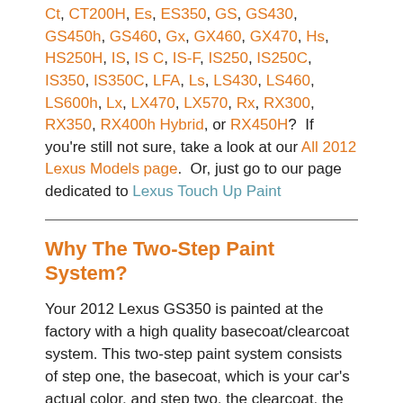Ct, CT200H, Es, ES350, GS, GS430, GS450h, GS460, Gx, GX460, GX470, Hs, HS250H, IS, IS C, IS-F, IS250, IS250C, IS350, IS350C, LFA, Ls, LS430, LS460, LS600h, Lx, LX470, LX570, Rx, RX300, RX350, RX400h Hybrid, or RX450H?  If you're still not sure, take a look at our All 2012 Lexus Models page.  Or, just go to our page dedicated to Lexus Touch Up Paint
Why The Two-Step Paint System?
Your 2012 Lexus GS350 is painted at the factory with a high quality basecoat/clearcoat system. This two-step paint system consists of step one, the basecoat, which is your car's actual color, and step two, the clearcoat, the specially formulated clear paint that protects the base color and provides the luster and deep shine your vehicle came with when new. AutomotiveTouchup products